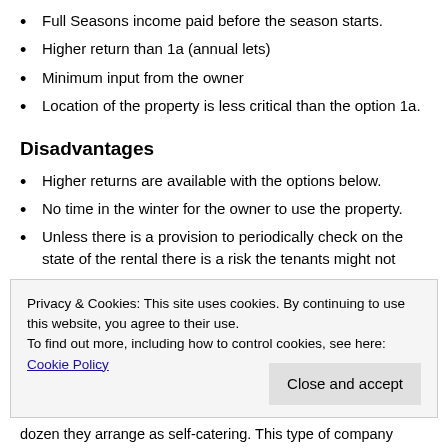Full Seasons income paid before the season starts.
Higher return than 1a (annual lets)
Minimum input from the owner
Location of the property is less critical than the option 1a.
Disadvantages
Higher returns are available with the options below.
No time in the winter for the owner to use the property.
Unless there is a provision to periodically check on the state of the rental there is a risk the tenants might not
Privacy & Cookies: This site uses cookies. By continuing to use this website, you agree to their use.
To find out more, including how to control cookies, see here: Cookie Policy
dozen they arrange as self-catering. This type of company